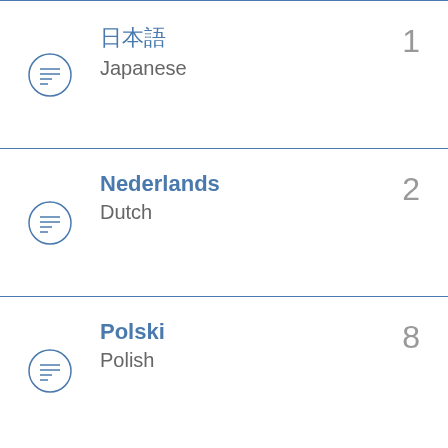日本語 Japanese — 1
Nederlands Dutch — 2
Polski Polish — 8